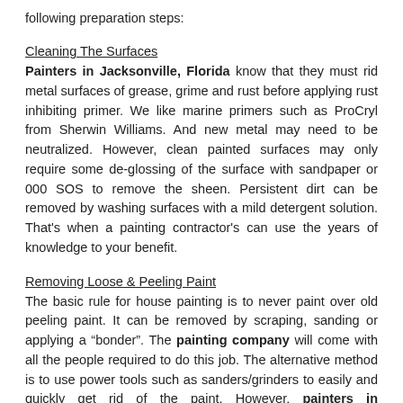following preparation steps:
Cleaning The Surfaces
Painters in Jacksonville, Florida know that they must rid metal surfaces of grease, grime and rust before applying rust inhibiting primer. We like marine primers such as ProCryl from Sherwin Williams. And new metal may need to be neutralized. However, clean painted surfaces may only require some de-glossing of the surface with sandpaper or 000 SOS to remove the sheen. Persistent dirt can be removed by washing surfaces with a mild detergent solution. That's when a painting contractor's can use the years of knowledge to your benefit.
Removing Loose & Peeling Paint
The basic rule for house painting is to never paint over old peeling paint. It can be removed by scraping, sanding or applying a "bonder". The painting company will come with all the people required to do this job. The alternative method is to use power tools such as sanders/grinders to easily and quickly get rid of the paint. However, painters in Jacksonville, Florida use this method sparingly on metal